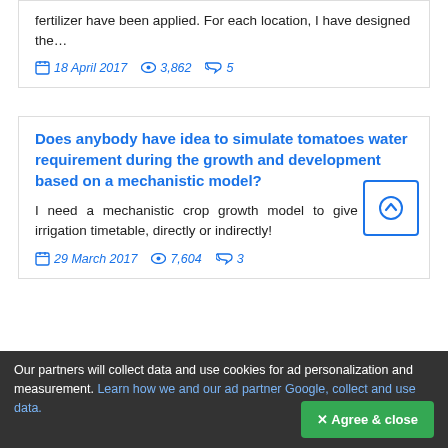fertilizer have been applied. For each location, I have designed the…
18 April 2017  3,862  5
Does anybody have idea to simulate tomatoes water requirement during the growth and development based on a mechanistic model?
I need a mechanistic crop growth model to give me the irrigation timetable, directly or indirectly!
29 March 2017  7,604  3
Our partners will collect data and use cookies for ad personalization and measurement. Learn how we and our ad partner Google, collect and use data.
✕ Agree & close